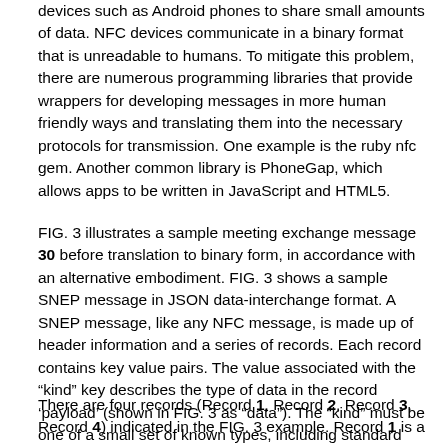devices such as Android phones to share small amounts of data. NFC devices communicate in a binary format that is unreadable to humans. To mitigate this problem, there are numerous programming libraries that provide wrappers for developing messages in more human friendly ways and translating them into the necessary protocols for transmission. One example is the ruby nfc gem. Another common library is PhoneGap, which allows apps to be written in JavaScript and HTML5.
FIG. 3 illustrates a sample meeting exchange message 30 before translation to binary form, in accordance with an alternative embodiment. FIG. 3 shows a sample SNEP message in JSON data-interchange format. A SNEP message, like any NFC message, is made up of header information and a series of records. Each record contains key value pairs. The value associated with the "kind" key describes the type of data in the record 'payload' (shown in FIG. 3 as "data"). The "kind" must be one of a small set of known types, including standard MIME types.
There are four records (Record 1, Record 2, Record 3, Record 4) indicated in the FIG. 3 example. Record 1 is a